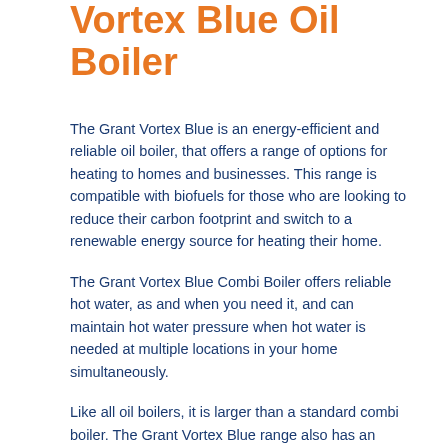Vortex Blue Oil Boiler
The Grant Vortex Blue is an energy-efficient and reliable oil boiler, that offers a range of options for heating to homes and businesses. This range is compatible with biofuels for those who are looking to reduce their carbon footprint and switch to a renewable energy source for heating their home.
The Grant Vortex Blue Combi Boiler offers reliable hot water, as and when you need it, and can maintain hot water pressure when hot water is needed at multiple locations in your home simultaneously.
Like all oil boilers, it is larger than a standard combi boiler. The Grant Vortex Blue range also has an internal and external model, with the external model being heavier and larger than the indoor range.